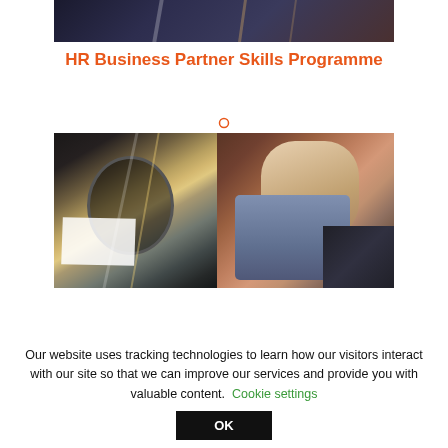[Figure (photo): Top partial image of people in a dark office/meeting room setting]
HR Business Partner Skills Programme
[Figure (photo): Two-panel image: left shows glass office reflections with warm tones; right shows a smiling Asian woman in a blue shirt with a man beside her in a casual meeting setting]
Our website uses tracking technologies to learn how our visitors interact with our site so that we can improve our services and provide you with valuable content. Cookie settings
OK